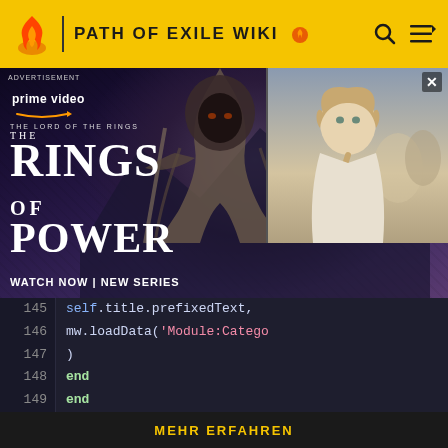PATH OF EXILE WIKI
[Figure (screenshot): Amazon Prime Video advertisement for 'The Lord of the Rings: The Rings of Power' featuring imagery of characters from the show. Shows 'WATCH NOW | NEW SERIES' text with a close button (X) in top right.]
self.title.prefixedText,
mw.loadData('Module:Catego
)
end
end

function CategoryHandler:isSuppressed(
Das deutsche Path of Exile wiki befindet sich derzeit im Aufbau. Die Vorlagen (Templates) werden nach und nach aus dem
MEHR ERFAHREN